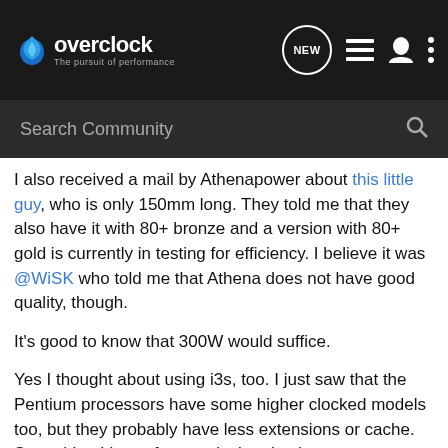overclock.net - The pursuit of performance
Search Community
I also received a mail by Athenapower about this little guy, who is only 150mm long. They told me that they also have it with 80+ bronze and a version with 80+ gold is currently in testing for efficiency. I believe it was @WiSK who told me that Athena does not have good quality, though.
It's good to know that 300W would suffice.
Yes I thought about using i3s, too. I just saw that the Pentium processors have some higher clocked models too, but they probably have less extensions or cache. Something I know for sure is that they've got even worse integrated graphics, but I
don't care too much about that [biggrin.gif]